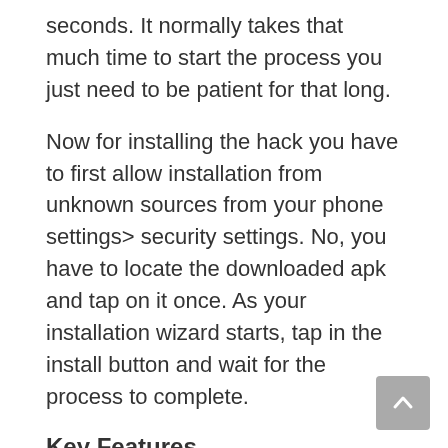seconds. It normally takes that much time to start the process you just need to be patient for that long.
Now for installing the hack you have to first allow installation from unknown sources from your phone settings> security settings. No, you have to locate the downloaded apk and tap on it once. As your installation wizard starts, tap in the install button and wait for the process to complete.
Key Features
Free to Download and use.
Simple and categorized user interface.